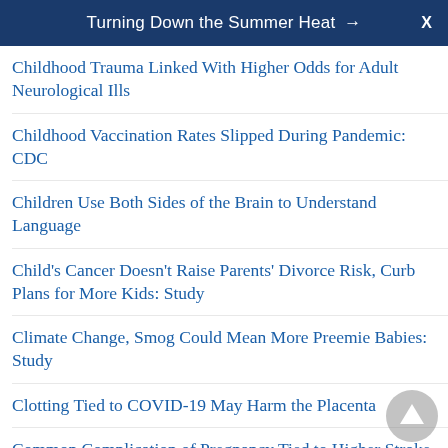Turning Down the Summer Heat → X
Childhood Trauma Linked With Higher Odds for Adult Neurological Ills
Childhood Vaccination Rates Slipped During Pandemic: CDC
Children Use Both Sides of the Brain to Understand Language
Child's Cancer Doesn't Raise Parents' Divorce Risk, Curb Plans for More Kids: Study
Climate Change, Smog Could Mean More Preemie Babies: Study
Clotting Tied to COVID-19 May Harm the Placenta
Common Complication of Pregnancy Tied to Higher Stroke Risk Later
Common Household Chemicals Tied to Preemie